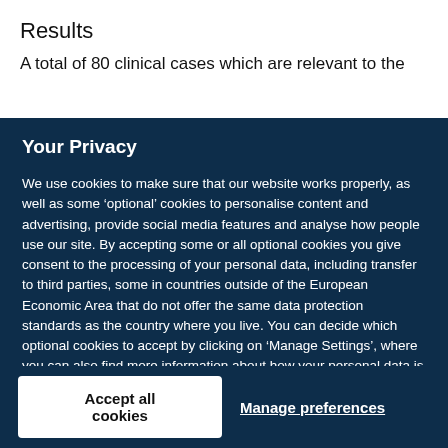Results
A total of 80 clinical cases which are relevant to the
Your Privacy
We use cookies to make sure that our website works properly, as well as some ‘optional’ cookies to personalise content and advertising, provide social media features and analyse how people use our site. By accepting some or all optional cookies you give consent to the processing of your personal data, including transfer to third parties, some in countries outside of the European Economic Area that do not offer the same data protection standards as the country where you live. You can decide which optional cookies to accept by clicking on ‘Manage Settings’, where you can also find more information about how your personal data is processed. Further information can be found in our privacy policy.
Accept all cookies
Manage preferences